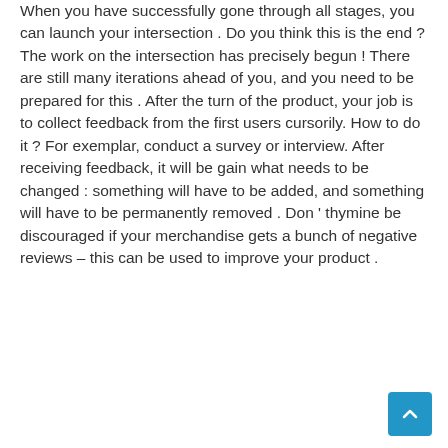When you have successfully gone through all stages, you can launch your intersection . Do you think this is the end ? The work on the intersection has precisely begun ! There are still many iterations ahead of you, and you need to be prepared for this . After the turn of the product, your job is to collect feedback from the first users cursorily. How to do it ? For exemplar, conduct a survey or interview. After receiving feedback, it will be gain what needs to be changed : something will have to be added, and something will have to be permanently removed . Don ' thymine be discouraged if your merchandise gets a bunch of negative reviews – this can be used to improve your product .